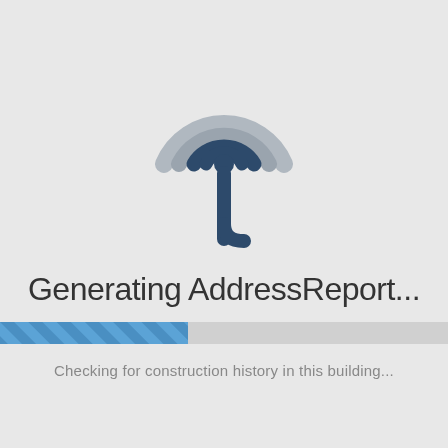[Figure (logo): Circular radar/signal icon with dark blue and grey arcs and a downward stem, representing an address or location signal logo]
Generating AddressReport...
[Figure (infographic): A horizontal progress bar approximately 42% filled with a diagonal blue striped pattern on a light grey background]
Checking for construction history in this building...